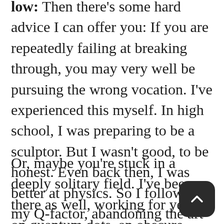low: Then there's some hard advice I can offer you: If you are repeatedly failing at breaking through, you may very well be pursuing the wrong vocation. I've experienced this myself. In high school, I was preparing to be a sculptor. But I wasn't good, to be honest. Even back then, I was better at physics. So I followed my Q-factor, abandoning the art studio for the research lab.
Or, maybe you're stuck in a deeply solitary field. I've been there as well, working for years on quantum dots, an obscure discipline where even the